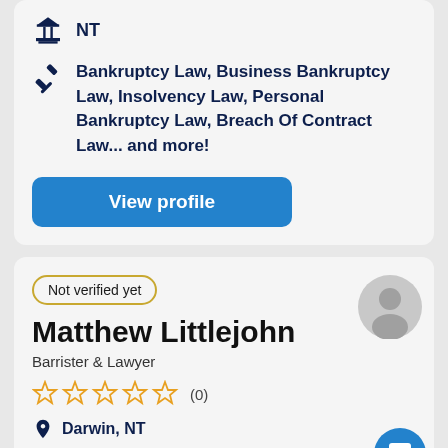NT
Bankruptcy Law, Business Bankruptcy Law, Insolvency Law, Personal Bankruptcy Law, Breach Of Contract Law... and more!
View profile
Not verified yet
Matthew Littlejohn
Barrister & Lawyer
(0)
Darwin, NT
NT